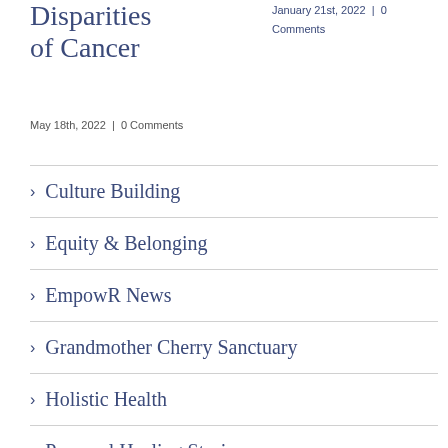Disparities of Cancer
May 18th, 2022  |  0 Comments
January 21st, 2022  |  0 Comments
Culture Building
Equity & Belonging
EmpowR News
Grandmother Cherry Sanctuary
Holistic Health
Personal Healing Stories